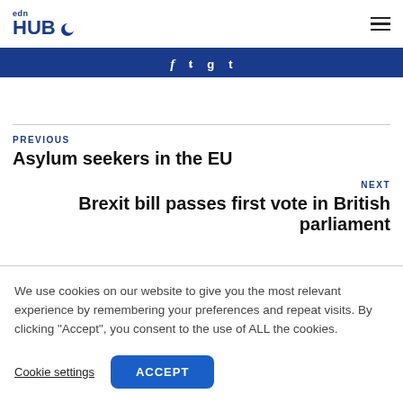edn HUB
PREVIOUS
Asylum seekers in the EU
NEXT
Brexit bill passes first vote in British parliament
We use cookies on our website to give you the most relevant experience by remembering your preferences and repeat visits. By clicking “Accept”, you consent to the use of ALL the cookies.
Cookie settings
ACCEPT